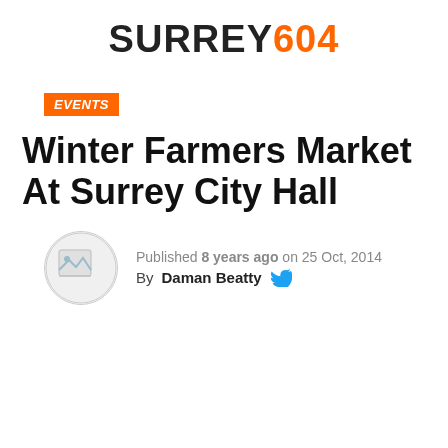SURREY604
EVENTS
Winter Farmers Market At Surrey City Hall
Published 8 years ago on 25 Oct, 2014
By Daman Beatty